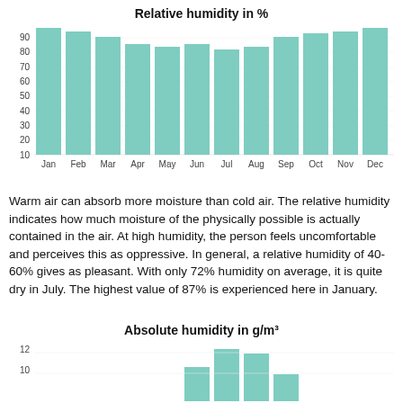[Figure (bar-chart): Relative humidity in %]
Warm air can absorb more moisture than cold air. The relative humidity indicates how much moisture of the physically possible is actually contained in the air. At high humidity, the person feels uncomfortable and perceives this as oppressive. In general, a relative humidity of 40-60% gives as pleasant. With only 72% humidity on average, it is quite dry in July. The highest value of 87% is experienced here in January.
[Figure (bar-chart): Absolute humidity in g/m³]